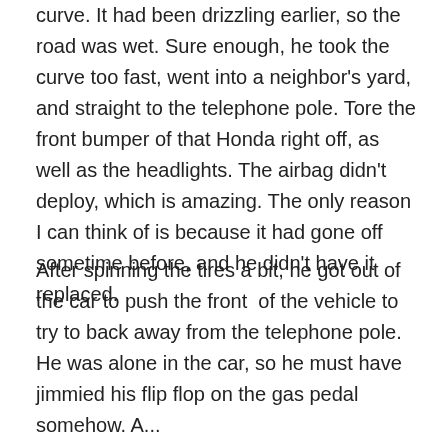curve. It had been drizzling earlier, so the road was wet. Sure enough, he took the curve too fast, went into a neighbor's yard, and straight to the telephone pole. Tore the front bumper of that Honda right off, as well as the headlights. The airbag didn't deploy, which is amazing. The only reason I can think of is because it had gone off sometime before, and he didn't have it replaced.
After spinning the tires a bit, he got out of the car to push the front  of the vehicle to try to back away from the telephone pole. He was alone in the car, so he must have jimmied his flip flop on the gas pedal somehow. A...